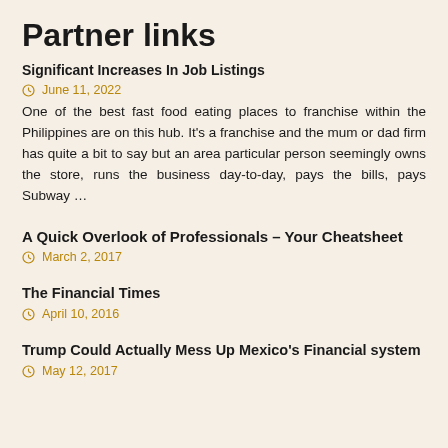Partner links
Significant Increases In Job Listings
June 11, 2022
One of the best fast food eating places to franchise within the Philippines are on this hub. It's a franchise and the mum or dad firm has quite a bit to say but an area particular person seemingly owns the store, runs the business day-to-day, pays the bills, pays Subway …
A Quick Overlook of Professionals – Your Cheatsheet
March 2, 2017
The Financial Times
April 10, 2016
Trump Could Actually Mess Up Mexico's Financial system
May 12, 2017